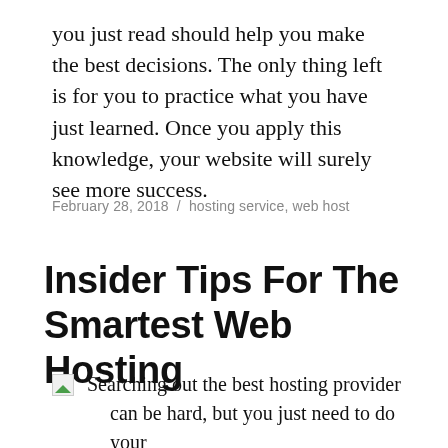you just read should help you make the best decisions. The only thing left is for you to practice what you have just learned. Once you apply this knowledge, your website will surely see more success.
February 28, 2018 / hosting service, web host
Insider Tips For The Smartest Web Hosting
Searching out the best hosting provider can be hard, but you just need to do your homework. As you gain greater knowledge on the topic of web hosting, you will find it easier